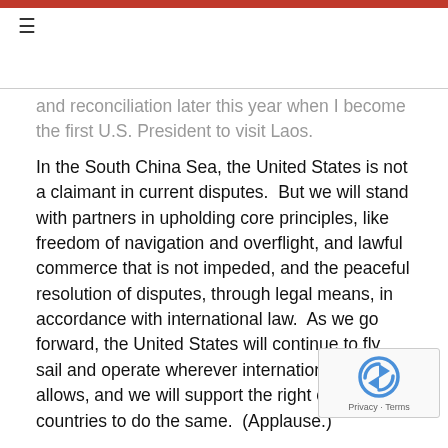☰
and reconciliation later this year when I become the first U.S. President to visit Laos.
In the South China Sea, the United States is not a claimant in current disputes.  But we will stand with partners in upholding core principles, like freedom of navigation and overflight, and lawful commerce that is not impeded, and the peaceful resolution of disputes, through legal means, in accordance with international law.  As we go forward, the United States will continue to fly, sail and operate wherever international law allows, and we will support the right of all countries to do the same.  (Applause.)
Even as we cooperate more closely in the areas I've described, our partnership includes a third element —